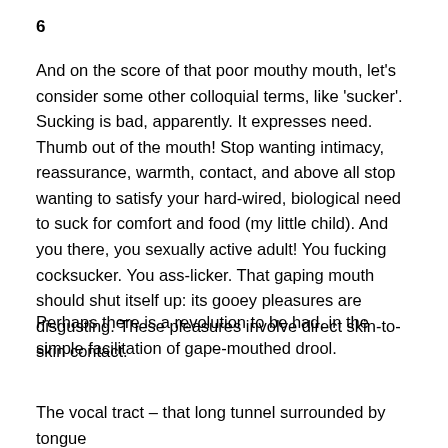6
And on the score of that poor mouthy mouth, let’s consider some other colloquial terms, like ‘sucker’. Sucking is bad, apparently. It expresses need. Thumb out of the mouth! Stop wanting intimacy, reassurance, warmth, contact, and above all stop wanting to satisfy your hard-wired, biological need to suck for comfort and food (my little child). And you there, you sexually active adult! You fucking cocksucker. You ass-licker. That gaping mouth should shut itself up: its gooey pleasures are disgusting. These pleasures involve direct skin-to-skin contact.
Perhaps there is a revolution to be had, in the simple facilitation of gape-mouthed drool.
The vocal tract – that long tunnel surrounded by tongue